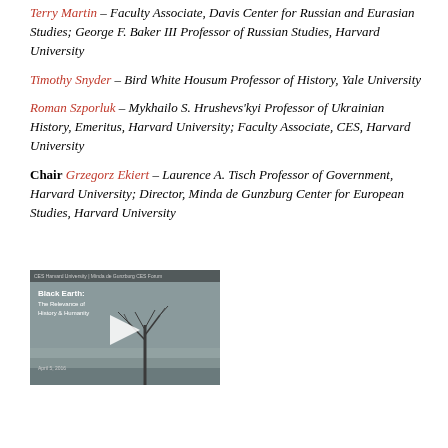Terry Martin – Faculty Associate, Davis Center for Russian and Eurasian Studies; George F. Baker III Professor of Russian Studies, Harvard University
Timothy Snyder – Bird White Housum Professor of History, Yale University
Roman Szporluk – Mykhailo S. Hrushevs'kyi Professor of Ukrainian History, Emeritus, Harvard University; Faculty Associate, CES, Harvard University
Chair Grzegorz Ekiert – Laurence A. Tisch Professor of Government, Harvard University; Director, Minda de Gunzburg Center for European Studies, Harvard University
[Figure (screenshot): Video thumbnail showing a black and white image of a bare tree in a misty landscape with a play button overlay. Text reads 'Black Earth: The Relevance of History & Humanity' with a date.]